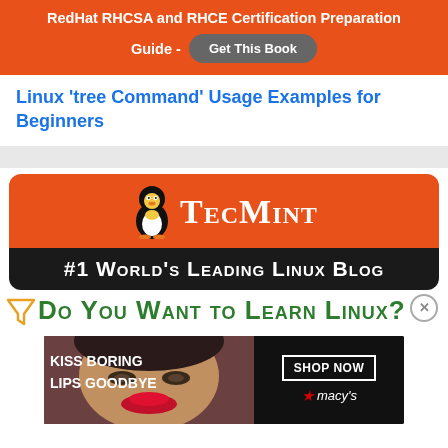RedHat RHCSA and RHCE Certification Preparation Guide - Get This Book
Linux ‘tree Command’ Usage Examples for Beginners
[Figure (logo): TecMint logo banner with Linux penguin mascot, orange background, text '#1 World's Leading Linux Blog' on black background]
Do You Want to Learn Linux?
[Figure (illustration): Macy's advertisement with woman's face, red lips, text 'KISS BORING LIPS GOODBYE', 'SHOP NOW', and Macy's star logo]